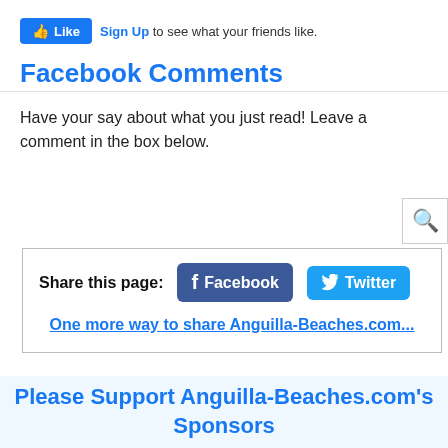[Figure (screenshot): Facebook Like button with thumbs up icon, and 'Sign Up to see what your friends like.' text]
Facebook Comments
Have your say about what you just read! Leave a comment in the box below.
[Figure (screenshot): Search icon button (magnifying glass) in top-right corner]
[Figure (screenshot): Share this page box with Facebook and Twitter buttons, and a link 'One more way to share Anguilla-Beaches.com...']
[Figure (screenshot): Back to top button (triangle/arrow icon) in bottom-right]
Please Support Anguilla-Beaches.com's Sponsors